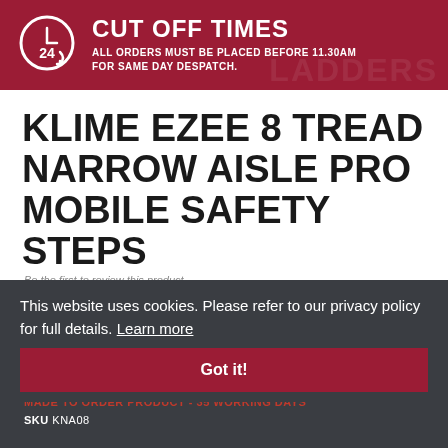[Figure (infographic): Red banner with clock/24h icon and cut-off times text]
KLIME EZEE 8 TREAD NARROW AISLE PRO MOBILE SAFETY STEPS
Be the first to review this product
This website uses cookies. Please refer to our privacy policy for full details. Learn more
£411.50
£493.80 INC VAT
MADE TO ORDER PRODUCT - 35 WORKING DAYS
SKU KNA08